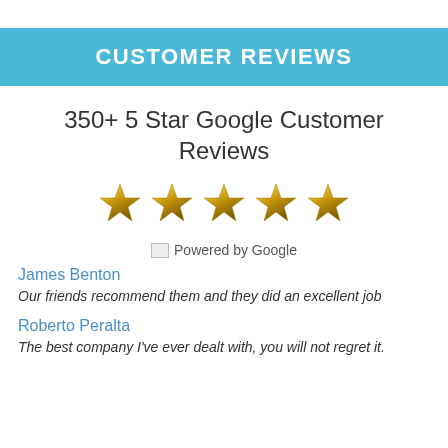CUSTOMER REVIEWS
350+ 5 Star Google Customer Reviews
[Figure (illustration): Five gold stars in a row representing a 5-star rating]
Powered by Google
James Benton
Our friends recommend them and they did an excellent job
Roberto Peralta
The best company I've ever dealt with, you will not regret it.